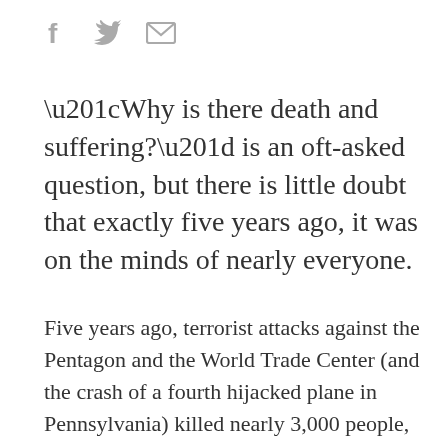[Figure (other): Social sharing icons: Facebook (f), Twitter (bird), Email (envelope) in gray]
“Why is there death and suffering?” is an oft-asked question, but there is little doubt that exactly five years ago, it was on the minds of nearly everyone.
Five years ago, terrorist attacks against the Pentagon and the World Trade Center (and the crash of a fourth hijacked plane in Pennsylvania) killed nearly 3,000 people, sobering American society and saturating the media and our minds with images of towers